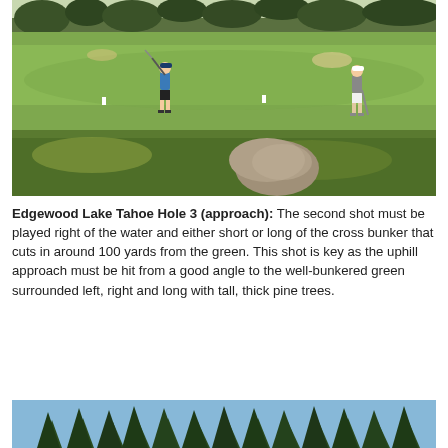[Figure (photo): Golf course photo showing two golfers on a fairway at Edgewood Lake Tahoe Hole 3. One golfer in blue shirt is mid-swing on the left, another in grey and white stands on the right. Green fairway stretches ahead, with trees in the background and rough grass with a large rock in the foreground.]
Edgewood Lake Tahoe Hole 3 (approach): The second shot must be played right of the water and either short or long of the cross bunker that cuts in around 100 yards from the green. This shot is key as the uphill approach must be hit from a good angle to the well-bunkered green surrounded left, right and long with tall, thick pine trees.
[Figure (photo): Partial photo showing tops of tall pine trees against a blue sky, bottom of the image — likely another view of Edgewood Lake Tahoe golf course.]